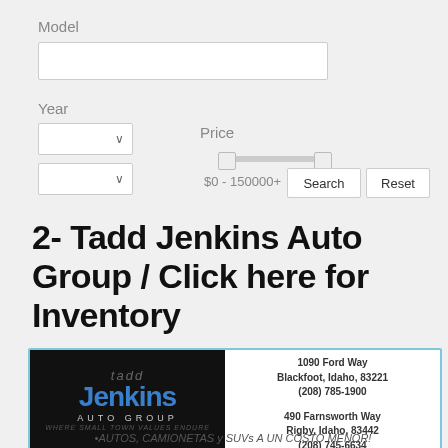Model
Year
Price
$0 - 150000+
Search
Reset
2- Tadd Jenkins Auto Group / Click here for Inventory
[Figure (logo): Tadd Jenkins Auto Group logo and contact information card. Logo on black background left side. Two addresses: 1090 Ford Way, Blackfoot, Idaho, 83221, (208) 785-1900 and 490 Farnsworth Way, Rigby, Idaho, 83442, (208) 745-6634]
•AUTOS, CAMIONETAS y SUVs A UN COSTO MENOR!